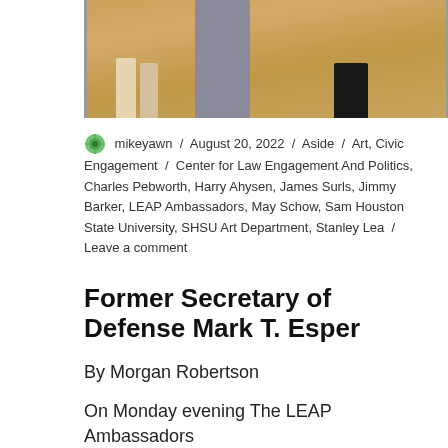[Figure (photo): Partial photo showing feet and lower legs of people standing on a wood floor, cropped at bottom of image.]
mikeyawn / August 20, 2022 / Aside / Art, Civic Engagement / Center for Law Engagement And Politics, Charles Pebworth, Harry Ahysen, James Surls, Jimmy Barker, LEAP Ambassadors, May Schow, Sam Houston State University, SHSU Art Department, Stanley Lea / Leave a comment
Former Secretary of Defense Mark T. Esper
By Morgan Robertson
On Monday evening The LEAP Ambassadors